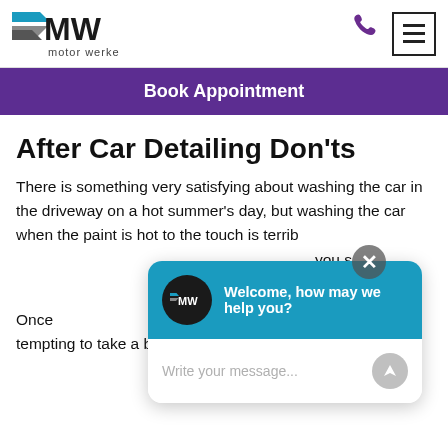[Figure (logo): Motor Werke logo with MW text and blue/grey wing graphic, and 'motor werke' text below]
[Figure (other): Purple phone icon and hamburger menu icon in box]
Book Appointment
After Car Detailing Don'ts
There is something very satisfying about washing the car in the driveway on a hot summer's day, but washing the car when the paint is hot to the touch is terrib[le for the finish. There is something something that you s[omething] but th[e] finish[ed]
Once [something] car, it may be tempting to take a break and let it air-
[Figure (screenshot): Chat widget overlay with Motor Werke logo, teal header reading 'Welcome, how may we help you?', and white input area with placeholder 'Write your message...' and send button]